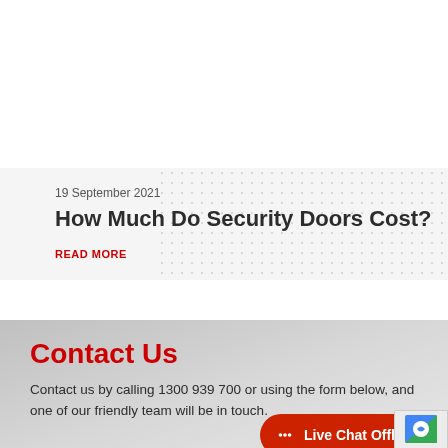19 September 2021
How Much Do Security Doors Cost?
READ MORE
Contact Us
Contact us by calling 1300 939 700 or using the form below, and one of our friendly team will be in touch.